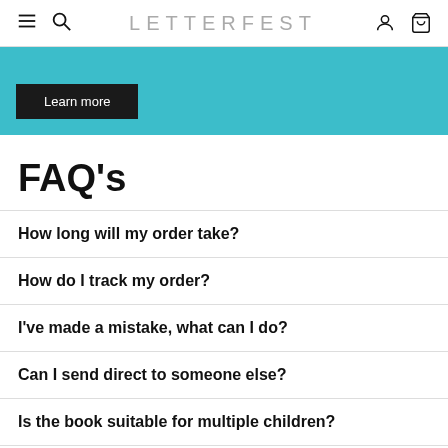LETTERFEST
[Figure (screenshot): Teal banner with a Learn more button]
FAQ's
How long will my order take?
How do I track my order?
I've made a mistake, what can I do?
Can I send direct to someone else?
Is the book suitable for multiple children?